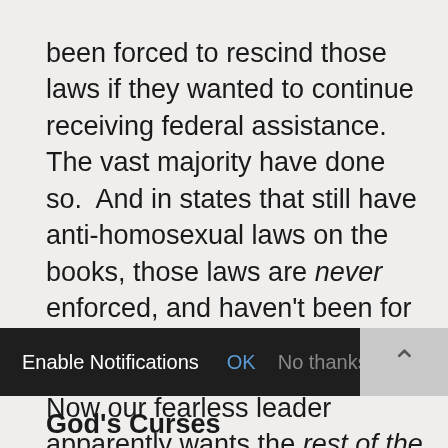been forced to rescind those laws if they wanted to continue receiving federal assistance.  The vast majority have done so.  And in states that still have anti-homosexual laws on the books, those laws are never enforced, and haven't been for decades.
Now our fearless leader apparently wants the rest of the world to come to the disco and join the crowd.  So get your metallic-coated spandex disco pants out.  And put on some Bee-Gees records.   You're going to need
Enable Notifications   OK   No thanks
God's Curses